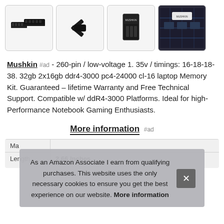[Figure (photo): Four thumbnail images of Mushkin DDR4 RAM modules: two sticks side by side, single stick top view, product box/packaging, and close-up circuit board view]
Mushkin #ad - 260-pin / low-voltage 1. 35v / timings: 16-18-18-38. 32gb 2x16gb ddr4-3000 pc4-24000 cl-16 laptop Memory Kit. Guaranteed – lifetime Warranty and Free Technical Support. Compatible w/ ddR4-3000 Platforms. Ideal for high-Performance Notebook Gaming Enthusiasts.
More information #ad
| Ma |  |
| Length | 2.66 Inches |
As an Amazon Associate I earn from qualifying purchases. This website uses the only necessary cookies to ensure you get the best experience on our website. More information